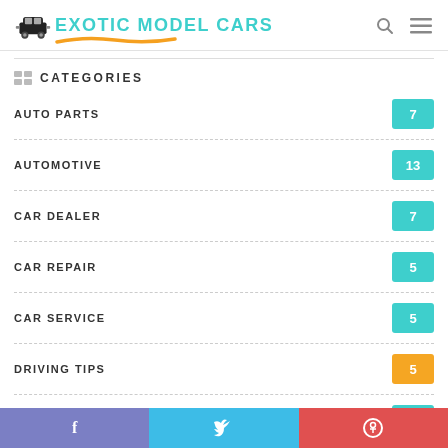EXOTIC MODEL CARS
CATEGORIES
AUTO PARTS 7
AUTOMOTIVE 13
CAR DEALER 7
CAR REPAIR 5
CAR SERVICE 5
DRIVING TIPS 5
USED CAR 6